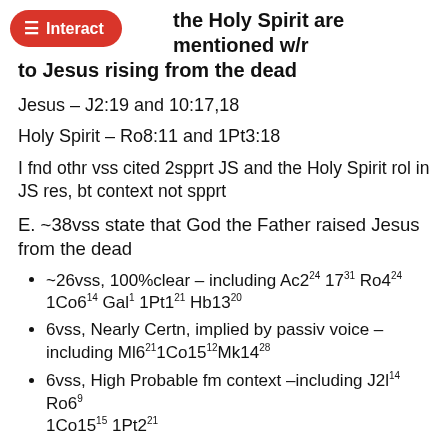the Holy Spirit are mentioned w/r to Jesus rising from the dead
Jesus – J2:19 and 10:17,18
Holy Spirit – Ro8:11 and 1Pt3:18
I fnd othr vss cited 2spprt JS and the Holy Spirit rol in JS res, bt context not spprt
E. ~38vss state that God the Father raised Jesus from the dead
~26vss, 100%clear – including Ac2²⁴ 17³¹ Ro4²⁴ 1Co6¹⁴ Gal¹ 1Pt1²¹ Hb13²⁰
6vss, Nearly Certn, implied by passiv voice – including Ml6²¹1Co15¹²Mk14²⁸
6vss, High Probable fm context –including J2l¹⁴ Ro6⁹ 1Co15¹⁵ 1Pt2²¹